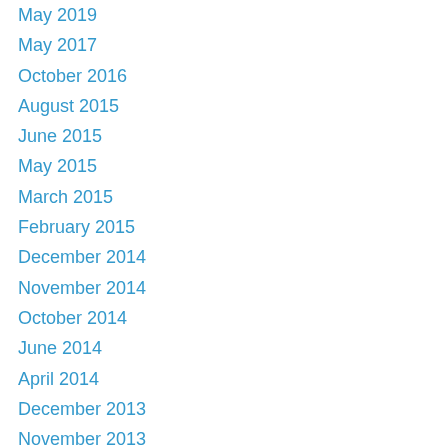May 2019
May 2017
October 2016
August 2015
June 2015
May 2015
March 2015
February 2015
December 2014
November 2014
October 2014
June 2014
April 2014
December 2013
November 2013
October 2013
August 2013
July 2013
June 2013
May 2013